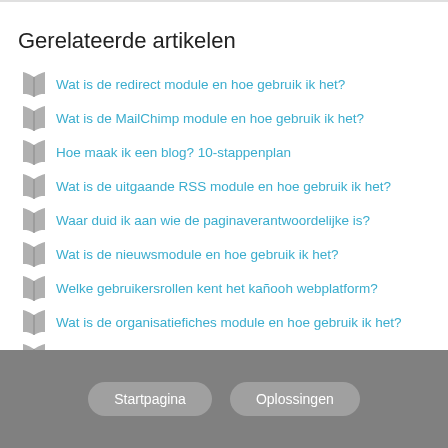Gerelateerde artikelen
Wat is de redirect module en hoe gebruik ik het?
Wat is de MailChimp module en hoe gebruik ik het?
Hoe maak ik een blog? 10-stappenplan
Wat is de uitgaande RSS module en hoe gebruik ik het?
Waar duid ik aan wie de paginaverantwoordelijke is?
Wat is de nieuwsmodule en hoe gebruik ik het?
Welke gebruikersrollen kent het kañooh webplatform?
Wat is de organisatiefiches module en hoe gebruik ik het?
Wat is de webservice API module en hoe gebruik ik het?
Waar vind ik het node nummer van mijn pagina?
Startpagina  Oplossingen